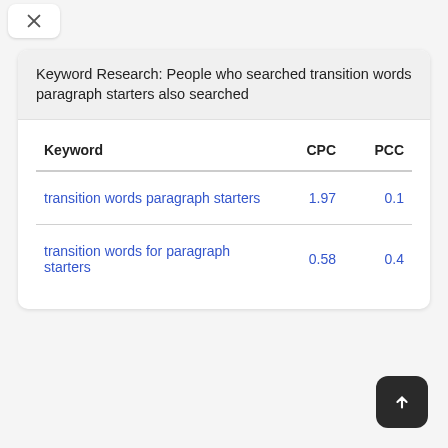[Figure (other): Close/collapse button (X icon) at top left]
Keyword Research: People who searched transition words paragraph starters also searched
| Keyword | CPC | PCC |
| --- | --- | --- |
| transition words paragraph starters | 1.97 | 0.1 |
| transition words for paragraph starters | 0.58 | 0.4 |
[Figure (other): Scroll-to-top button (arrow up) at bottom right]